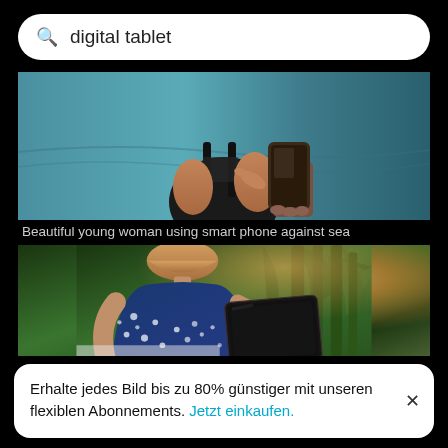digital tablet
[Figure (photo): Woman in black swimsuit using a smartphone against a sea/ocean background]
Beautiful young woman using smart phone against sea
[Figure (photo): Person with blonde hair wearing a blue polka-dot shirt holding a digital tablet, with tropical green plants and warm sunlight in background]
Erhalte jedes Bild bis zu 80% günstiger mit unseren flexiblen Abonnements. Jetzt einkaufen.